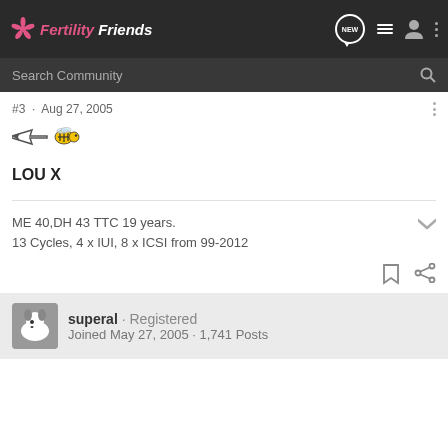FertilityFriends
Search Community
#3 · Aug 27, 2005
[Figure (illustration): Small pixel art icons: a fish/star shape and a bee emoji]
LOU X
ME 40,DH 43 TTC 19 years.
13 Cycles, 4 x IUI, 8 x ICSI from 99-2012
superal · Registered
Joined May 27, 2005 · 1,741 Posts